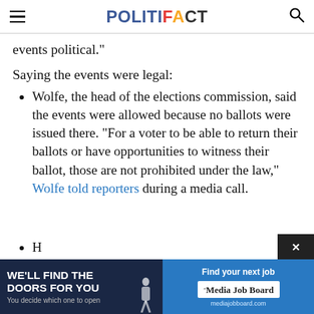POLITIFACT
events political."
Saying the events were legal:
Wolfe, the head of the elections commission, said the events were allowed because no ballots were issued there. "For a voter to be able to return their ballots or have opportunities to witness their ballot, those are not prohibited under the law," Wolfe told reporters during a media call.